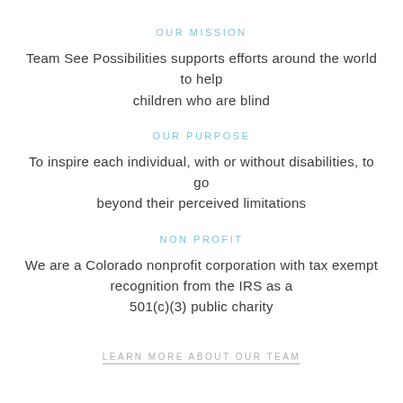OUR MISSION
Team See Possibilities supports efforts around the world to help children who are blind
OUR PURPOSE
To inspire each individual, with or without disabilities, to go beyond their perceived limitations
NON PROFIT
We are a Colorado nonprofit corporation with tax exempt recognition from the IRS as a 501(c)(3) public charity
LEARN MORE ABOUT OUR TEAM